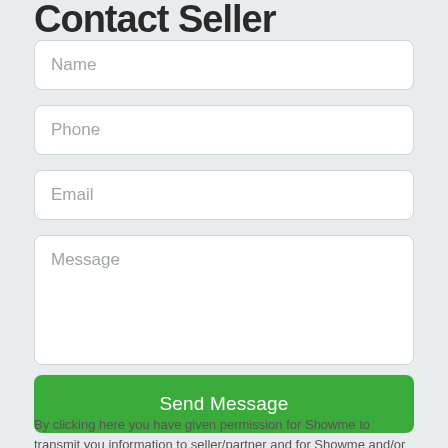Contact Seller
Name
Phone
Email
Message
Send Message
By clicking here you have given permission for Showme to transmit you information to seller/partner and for Showme and/or seller/partner to contact you.